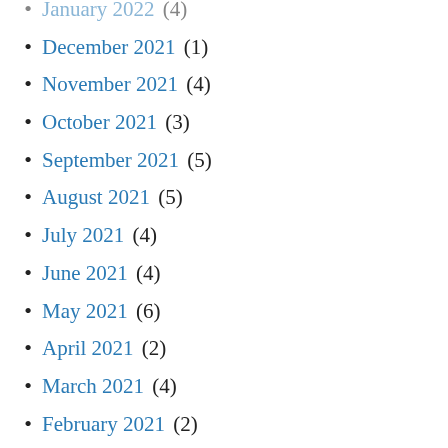January 2022 (4)
December 2021 (1)
November 2021 (4)
October 2021 (3)
September 2021 (5)
August 2021 (5)
July 2021 (4)
June 2021 (4)
May 2021 (6)
April 2021 (2)
March 2021 (4)
February 2021 (2)
January 2021 (3)
December 2020 (2)
October 2020 (2)
September 2020 (2)
August 2020 (2)